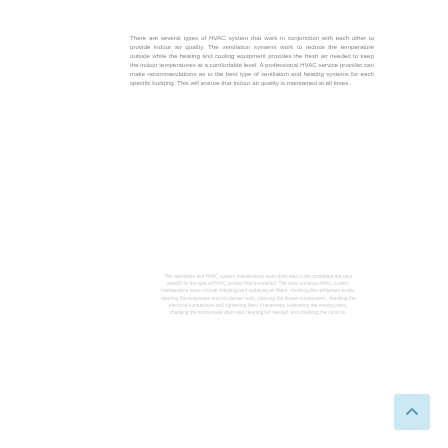There are several types of HVAC system that work in conjunction with each other to provide indoor air quality. The ventilation systems work to reduce the temperature outside while the heating and cooling equipment provides the fresh air needed to keep the indoor temperatures at a comfortable level. A professional HVAC service provider can make recommendations as to the best type of ventilation and heating systems for each specific building. This will ensure that indoor air quality is maintained at all times.
The ventilation and HVAC system maintenance tasks that need to be completed are very specific to the type of HVAC system that is installed. The most common HVAC system maintenance tasks include checking and replacing air filters, checking the refrigerant levels, cleaning the evaporator and condenser coils, cleaning the blower components, checking the electrical connections and tightening them if necessary, lubricating the moving parts, checking the condensate drain and cleaning it if needed, and checking the controls.